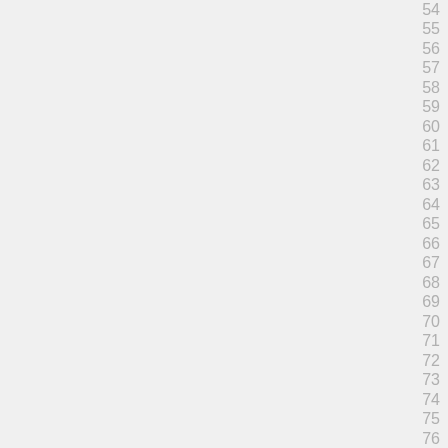54
55
56
57
58
59
60
61
62
63
64
65
66
67
68
69
70
71
72
73
74
75
76